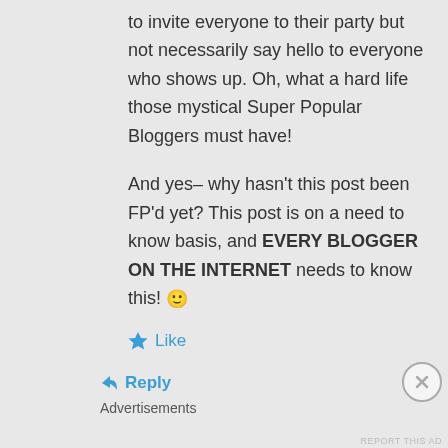to invite everyone to their party but not necessarily say hello to everyone who shows up. Oh, what a hard life those mystical Super Popular Bloggers must have!
And yes– why hasn't this post been FP'd yet? This post is on a need to know basis, and EVERY BLOGGER ON THE INTERNET needs to know this! 🙂
★ Like
↪ Reply
Advertisements